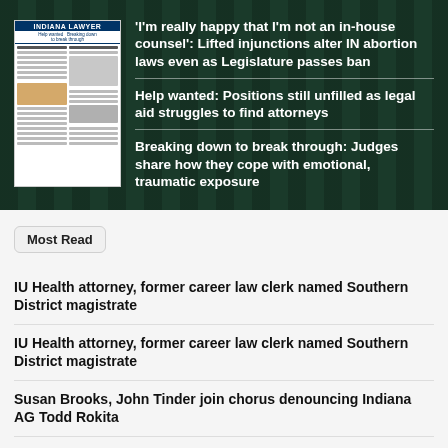[Figure (illustration): Indiana Lawyer newspaper front page thumbnail shown against dark green curtain background]
'I'm really happy that I'm not an in-house counsel': Lifted injunctions alter IN abortion laws even as Legislature passes ban
Help wanted: Positions still unfilled as legal aid struggles to find attorneys
Breaking down to break through: Judges share how they cope with emotional, traumatic exposure
Most Read
IU Health attorney, former career law clerk named Southern District magistrate
IU Health attorney, former career law clerk named Southern District magistrate
Susan Brooks, John Tinder join chorus denouncing Indiana AG Todd Rokita
Congresswoman Jackie Walorski, 3 others killed in northern IN car crash
12 Indiana judges, lawyers apply for Molter's upcoming COA vacancy